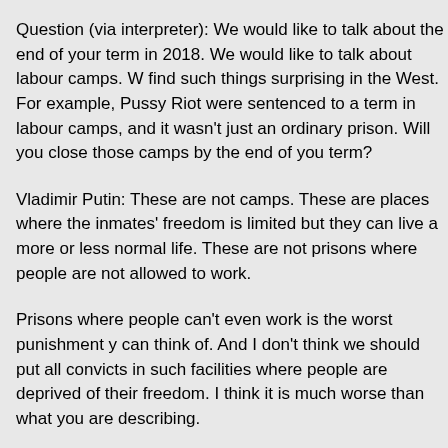Question (via interpreter): We would like to talk about the end of your term in 2018. We would like to talk about labour camps. We find such things surprising in the West. For example, Pussy Riot were sentenced to a term in labour camps, and it wasn't just an ordinary prison. Will you close those camps by the end of your term?
Vladimir Putin: These are not camps. These are places where the inmates' freedom is limited but they can live a more or less normal life. These are not prisons where people are not allowed to work.
Prisons where people can't even work is the worst punishment you can think of. And I don't think we should put all convicts in such facilities where people are deprived of their freedom. I think it is much worse than what you are describing.
Question (via interpreter): Who convinced you that you are carryi